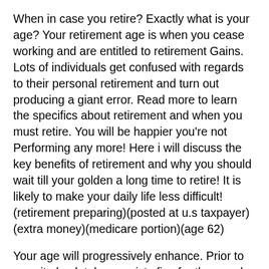When in case you retire? Exactly what is your age? Your retirement age is when you cease working and are entitled to retirement Gains. Lots of individuals get confused with regards to their personal retirement and turn out producing a giant error. Read more to learn the specifics about retirement and when you must retire. You will be happier you're not Performing any more! Here i will discuss the key benefits of retirement and why you should wait till your golden a long time to retire! It is likely to make your daily life less difficult! (retirement preparing)(posted at u.s taxpayer)(extra money)(medicare portion)(age 62)
Your age will progressively enhance. Prior to now, it absolutely was sixty five for the people born inside the early 1930s. By 2048, it will be 65. However, this age isn't the exact for everyone. In the event you ended up born in 1957, you can assume to retire at sixty six and ten months in 2022. Basically, you can be 66 and 10 months when you are 70. That's why the age to retire has modified!(hold out for a